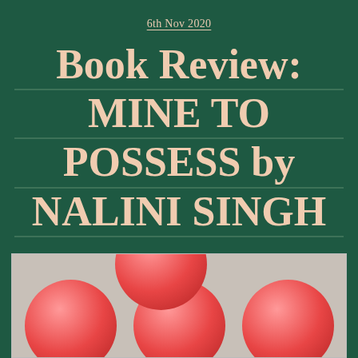6th Nov 2020
Book Review: MINE TO POSSESS by NALINI SINGH
[Figure (photo): Close-up photo of red/pink round objects (cups or balls) on a light textured background, cropped to show the tops of the objects.]